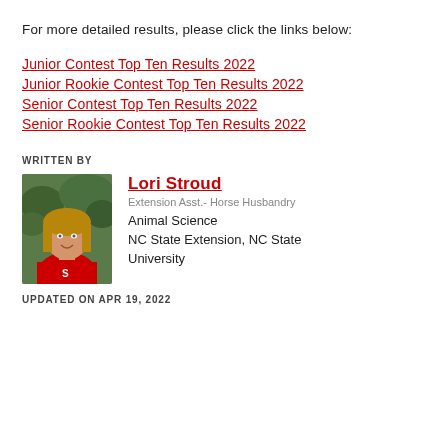For more detailed results, please click the links below:
Junior Contest Top Ten Results 2022
Junior Rookie Contest Top Ten Results 2022
Senior Contest Top Ten Results 2022
Senior Rookie Contest Top Ten Results 2022
WRITTEN BY
[Figure (photo): Headshot photo of Lori Stroud wearing a red polo shirt with an S logo, smiling, with trees in background.]
Lori Stroud
Extension Asst.- Horse Husbandry
Animal Science
NC State Extension, NC State University
UPDATED ON APR 19, 2022